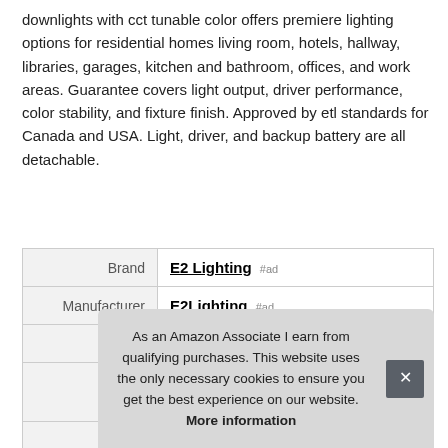downlights with cct tunable color offers premiere lighting options for residential homes living room, hotels, hallway, libraries, garages, kitchen and bathroom, offices, and work areas. Guarantee covers light output, driver performance, color stability, and fixture finish. Approved by etl standards for Canada and USA. Light, driver, and backup battery are all detachable.
| Brand | E2 Lighting #ad |
| Manufacturer | E2Lighting #ad |
| Height | 3 Inches |
|  |  |
|  |  |
As an Amazon Associate I earn from qualifying purchases. This website uses the only necessary cookies to ensure you get the best experience on our website. More information